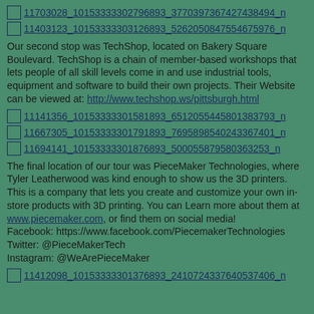[Figure (photo): Image link: 11703028_10153333302796893_3770397367427438494_n]
[Figure (photo): Image link: 11403123_10153333303126893_5262050847554675976_n]
Our second stop was TechShop, located on Bakery Square Boulevard. TechShop is a chain of member-based workshops that lets people of all skill levels come in and use industrial tools, equipment and software to build their own projects. Their Website can be viewed at: http://www.techshop.ws/pittsburgh.html
[Figure (photo): Image link: 11141356_10153333301581893_6512055445801383793_n]
[Figure (photo): Image link: 11667305_10153333301791893_7695898540243367401_n]
[Figure (photo): Image link: 11694141_10153333301876893_500055879580363253_n]
The final location of our tour was PieceMaker Technologies, where Tyler Leatherwood was kind enough to show us the 3D printers. This is a company that lets you create and customize your own in-store products with 3D printing. You can Learn more about them at www.piecemaker.com, or find them on social media!
Facebook: https://www.facebook.com/PiecemakerTechnologies
Twitter: @PieceMakerTech
Instagram: @WeArePieceMaker
[Figure (photo): Image link: 11412098_10153333301376893_2410724337640537406_n]